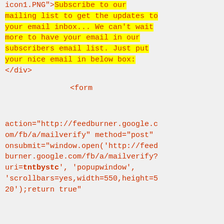icon1.PNG">Subscribe to our mailing list to get the updates to your email inbox... We can't wait more to have your email in our subscribers email list. Just put your nice email in below box:
</div>


            <form



action="http://feedburner.google.com/fb/a/mailverify" method="post"
onsubmit="window.open('http://feedburner.google.com/fb/a/mailverify?uri=tntbystc', 'popupwindow', 'scrollbars=yes,width=550,height=520');return true"